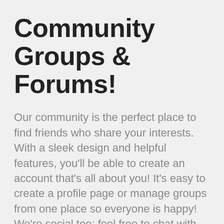Community Groups & Forums!
Our community is the perfect place to find friends who share your interests. With a sleek design and helpful features, you'll be able to create an account that's all about you! It's easy to create a profile page or manage groups from one place so everyone is happy! We're social too: feel free to chat with others without ever having left our site!
Sign up for an account today! Not only can you create groups, but also manage them from one easy-to-use